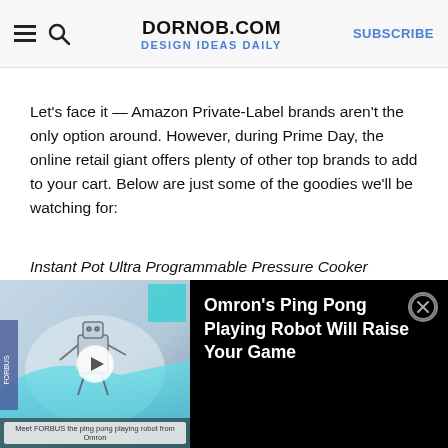DORNOB.COM — DESIGN IDEAS DAILY — SUBSCRIBE
Let's face it — Amazon Private-Label brands aren't the only option around. However, during Prime Day, the online retail giant offers plenty of other top brands to add to your cart. Below are just some of the goodies we'll be watching for:
Instant Pot Ultra Programmable Pressure Cooker
[Figure (photo): Top portion of a dark/black circular kitchen appliance (Instant Pot pressure cooker) showing the lid handle and top panel]
[Figure (screenshot): Video overlay thumbnail showing Omron ping pong robot at a trade show with a play button, and adjacent black panel with title text 'Omron's Ping Pong Playing Robot Will Raise Your Game' with close button]